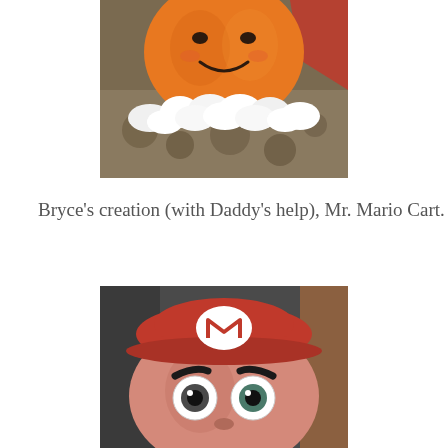[Figure (photo): Close-up photo of a decorated pumpkin resembling a smiling face character with white fluffy fur trim around the base, placed on a granite countertop with red fabric in the background.]
Bryce's creation (with Daddy's help), Mr. Mario Cart.
[Figure (photo): Close-up photo of a pumpkin decorated as Mario from Mario Kart, with a pink/red painted face, large googly eyes, black painted eyebrows, and a red Mario hat with white M logo on top.]